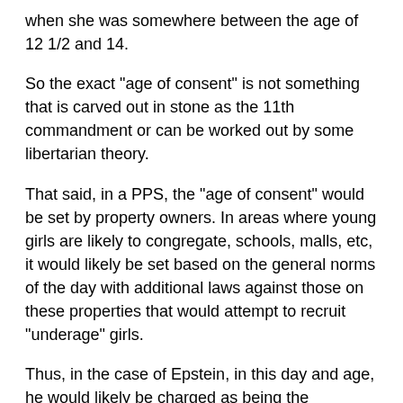when she was somewhere between the age of 12 1/2 and 14.
So the exact "age of consent" is not something that is carved out in stone as the 11th commandment or can be worked out by some libertarian theory.
That said, in a PPS, the "age of consent" would be set by property owners. In areas where young girls are likely to congregate, schools, malls, etc, it would likely be set based on the general norms of the day with additional laws against those on these properties that would attempt to recruit "underage" girls.
Thus, in the case of Epstein, in this day and age, he would likely be charged as being the mastermind behind the recruitment of  "underage" girls on various private properties (in addition to any charges of lying about the rules at his property).
Thus, under a PPS, justice would come to Epstein, but it likely would have come years earlier because there wouldn't